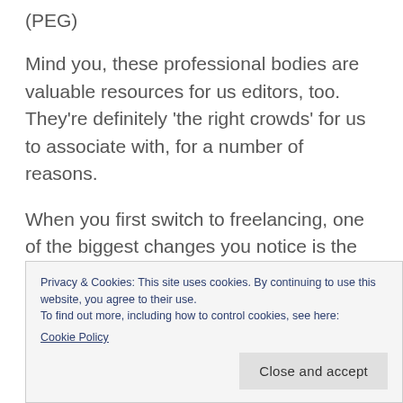(PEG)
Mind you, these professional bodies are valuable resources for us editors, too. They’re definitely ‘the right crowds’ for us to associate with, for a number of reasons.
When you first switch to freelancing, one of the biggest changes you notice is the loss of an in-house team. There are some pluses to that: you
Privacy & Cookies: This site uses cookies. By continuing to use this website, you agree to their use.
To find out more, including how to control cookies, see here:
Cookie Policy
Close and accept